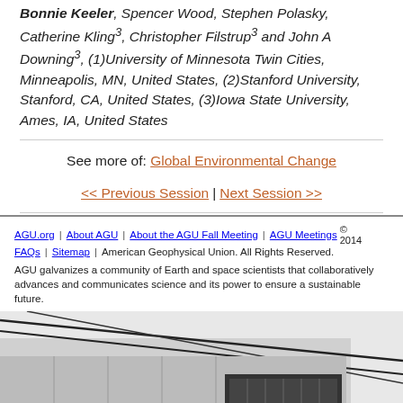Bonnie Keeler, Spencer Wood, Stephen Polasky, Catherine Kling3, Christopher Filstrup3 and John A Downing3, (1)University of Minnesota Twin Cities, Minneapolis, MN, United States, (2)Stanford University, Stanford, CA, United States, (3)Iowa State University, Ames, IA, United States
See more of: Global Environmental Change
<< Previous Session | Next Session >>
AGU.org | About AGU | About the AGU Fall Meeting | AGU Meetings FAQs | Sitemap | © 2014 American Geophysical Union. All Rights Reserved.
AGU galvanizes a community of Earth and space scientists that collaboratively advances and communicates science and its power to ensure a sustainable future.
[Figure (photo): Partial photograph of a building or outdoor structure with cables/wires visible, cropped at the bottom of the page.]